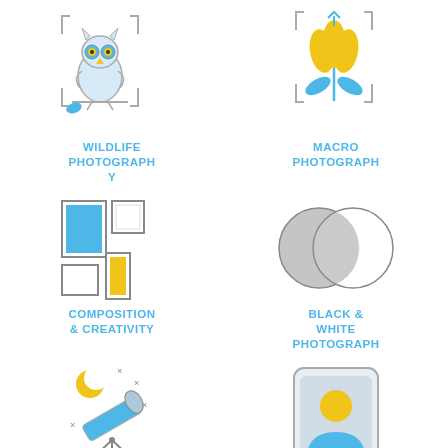[Figure (illustration): Owl icon inside a camera viewfinder bracket frame]
WILDLIFE PHOTOGRAPH Y
[Figure (illustration): Tulip/flower icon inside a camera viewfinder bracket frame]
MACRO PHOTOGRAPH
[Figure (illustration): Picture frames/composition layout icon]
COMPOSITION & CREATIVITY
[Figure (illustration): Two overlapping circles (Venn diagram style) in gray tones]
BLACK & WHITE PHOTOGRAPH
[Figure (illustration): Telescope with crescent moon and stars icon]
NIGHT SKY PHOTOGRAPH Y
[Figure (illustration): Portrait photo icon with person silhouette in a phone/frame]
PORTRAIT PHOTOGRAPH Y
[Figure (illustration): Landscape photo icon (partially visible at bottom)]
[Figure (illustration): Star/award icon (partially visible at bottom)]